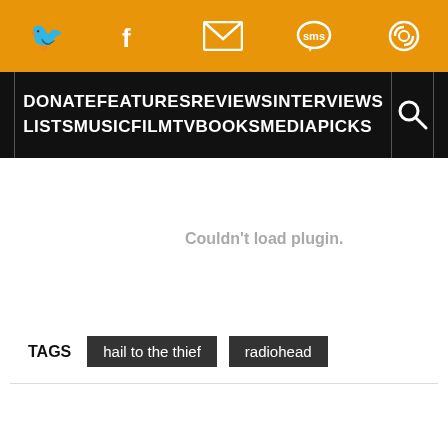Social share bar with Twitter, Facebook, Email, SMS, and another icon
DONATE FEATURES REVIEWS INTERVIEWS LISTS MUSIC FILM TV BOOKS MEDIA PICKS [search]
[Figure (screenshot): Plugin area showing 'Couldn't load plugin.' message in grey text]
TAGS  hail to the thief  radiohead